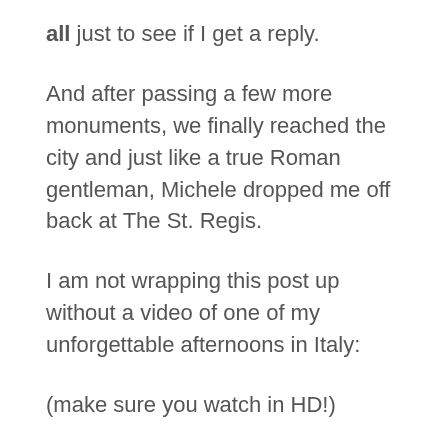all just to see if I get a reply.
And after passing a few more monuments, we finally reached the city and just like a true Roman gentleman, Michele dropped me off back at The St. Regis.
I am not wrapping this post up without a video of one of my unforgettable afternoons in Italy:
(make sure you watch in HD!)